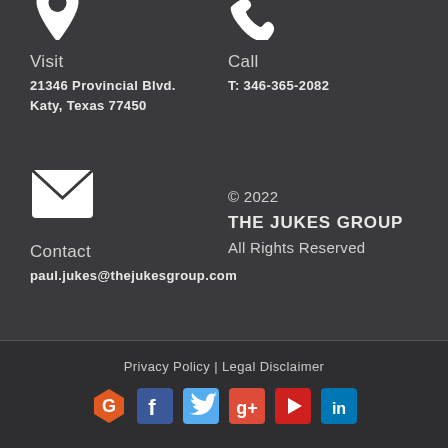[Figure (illustration): White location pin / map marker icon (top of page, partially cropped)]
[Figure (illustration): White phone receiver icon (top of page, partially cropped)]
Visit
21346 Provincial Blvd.
Katy, Texas 77450
Call
T: 346-365-2082
[Figure (illustration): White envelope / mail icon]
© 2022
THE JUKES GROUP
All Rights Reserved
Contact
paul.jukes@thejukesgroup.com
Privacy Policy | Legal Disclaimer
[Figure (illustration): Row of social media icons: Google (orange hexagon), Facebook (blue), Twitter (light blue), Google+ (red), YouTube (red), LinkedIn (blue)]